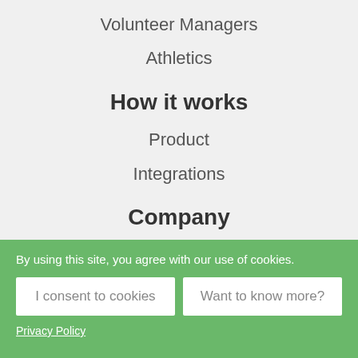Volunteer Managers
Athletics
How it works
Product
Integrations
Company
Company
Careers
News
By using this site, you agree with our use of cookies.
I consent to cookies
Want to know more?
Privacy Policy